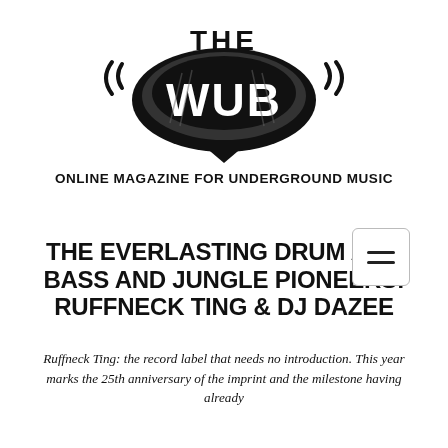[Figure (logo): The WUB logo — stylized bold graffiti-style lettering 'THE WUB' with sound wave lines on either side]
ONLINE MAGAZINE FOR UNDERGROUND MUSIC
THE EVERLASTING DRUM AND BASS AND JUNGLE PIONEERS: RUFFNECK TING & DJ DAZEE
Ruffneck Ting: the record label that needs no introduction. This year marks the 25th anniversary of the imprint and the milestone having already